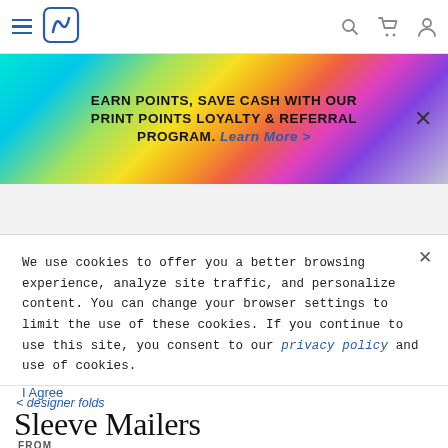Navigation bar with hamburger menu, Smartpress logo, search icon, cart icon, and account icon
EARN POINTS, SAVE CASH WITH OUR PRINT POINTS LOYALTY & REFERRAL PROGRAM. Learn More >
We use cookies to offer you a better browsing experience, analyze site traffic, and personalize content. You can change your browser settings to limit the use of these cookies. If you continue to use this site, you consent to our privacy policy and use of cookies.
I Agree
< designer folds
Sleeve Mailers
FROM